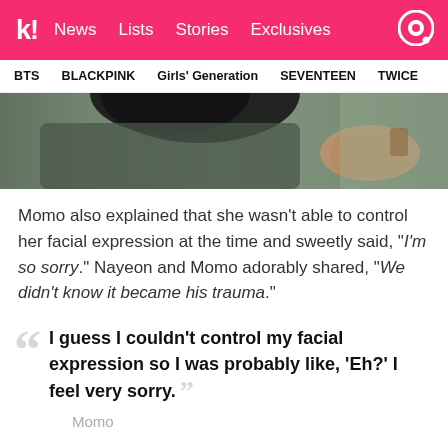k! News Lists Stories Exclusives
BTS   BLACKPINK   Girls' Generation   SEVENTEEN   TWICE
[Figure (photo): Photo of a person with dark hair wearing a gray/green shirt, hand visible holding something, blurred background]
Momo also explained that she wasn't able to control her facial expression at the time and sweetly said, “I’m so sorry.” Nayeon and Momo adorably shared, “We didn’t know it became his trauma.”
I guess I couldn’t control my facial expression so I was probably like, ‘Eh?’ I feel very sorry.
Momo